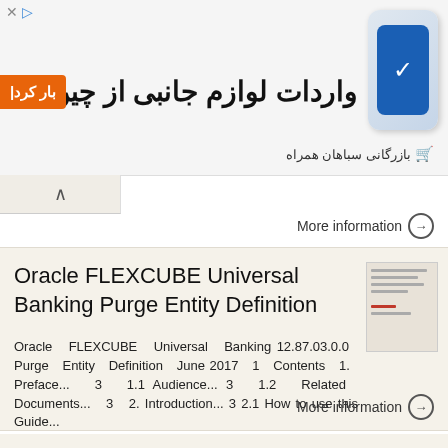[Figure (other): Persian language advertisement banner for 'واردات لوازم جانبی از چین ودبی' (Import accessories from China and Dubai) by 'بازرگانی سباهان همراه' with orange button and phone image]
More information →
Oracle FLEXCUBE Universal Banking Purge Entity Definition
Oracle FLEXCUBE Universal Banking 12.87.03.0.0 Purge Entity Definition June 2017 1 Contents 1. Preface... 3 1.1 Audience... 3 1.2 Related Documents... 3 2. Introduction... 3 2.1 How to use this Guide...
More information →
Function ID Development II Oracle FLEXCUBE Universal Banking Release 12.0